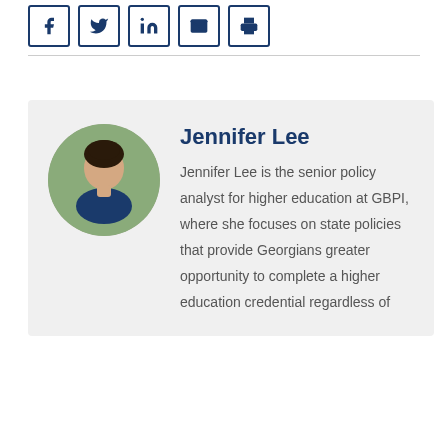[Figure (other): Social media sharing icons: Facebook, Twitter, LinkedIn, email, print — each in a bordered square button]
[Figure (photo): Circular headshot photo of Jennifer Lee, a woman with dark hair wearing a navy blue top, outdoors with green foliage background]
Jennifer Lee
Jennifer Lee is the senior policy analyst for higher education at GBPI, where she focuses on state policies that provide Georgians greater opportunity to complete a higher education credential regardless of